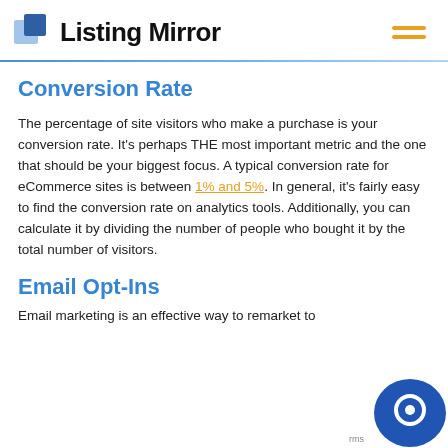Listing Mirror
Conversion Rate
The percentage of site visitors who make a purchase is your conversion rate. It's perhaps THE most important metric and the one that should be your biggest focus. A typical conversion rate for eCommerce sites is between 1% and 5%. In general, it's fairly easy to find the conversion rate on analytics tools. Additionally, you can calculate it by dividing the number of people who bought it by the total number of visitors.
Email Opt-Ins
Email marketing is an effective way to remarket to